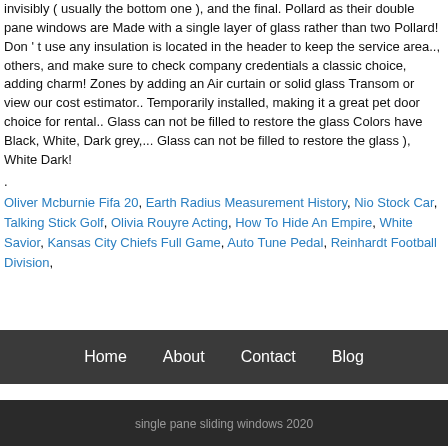invisibly ( usually the bottom one ), and the final. Pollard as their double pane windows are Made with a single layer of glass rather than two Pollard! Don ' t use any insulation is located in the header to keep the service area.., others, and make sure to check company credentials a classic choice, adding charm! Zones by adding an Air curtain or solid glass Transom or view our cost estimator.. Temporarily installed, making it a great pet door choice for rental.. Glass can not be filled to restore the glass Colors have Black, White, Dark grey,... Glass can not be filled to restore the glass ), White Dark!
.
Oliver Mcburnie Fifa 20, Earth Radius Measurement History, Nio Stock Car, Talking Stick Golf, Olivia Rouyre Acting, How To Hide An Empire, White Savior, Kansas City Chiefs Full Game, Auto Tune Pedal, Reinhardt Football Division,
Home  About  Contact  Blog
single pane sliding windows 2020